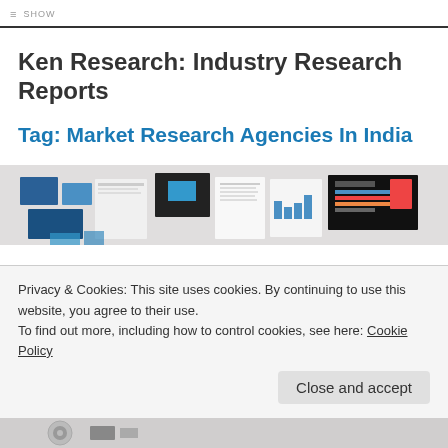≡ SHOW
Ken Research: Industry Research Reports
Tag: Market Research Agencies In India
[Figure (photo): A banner image showing various market research report documents, brochures, charts and graphs spread out on a light background.]
Privacy & Cookies: This site uses cookies. By continuing to use this website, you agree to their use.
To find out more, including how to control cookies, see here: Cookie Policy
Close and accept